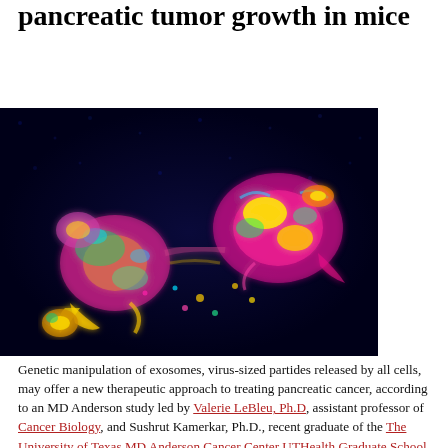pancreatic tumor growth in mice
BY RON GILMORE
[Figure (photo): Fluorescence microscopy image showing pancreatic tumor tissue. Brightly colored (yellow, magenta, green, cyan) tumor structures are visible against a dark blue background, showing two main tumor masses with irregular glowing borders.]
Genetic manipulation of exosomes, virus-sized partides released by all cells, may offer a new therapeutic approach to treating pancreatic cancer, according to an MD Anderson study led by Valerie LeBleu, Ph.D, assistant professor of Cancer Biology, and Sushrut Kamerkar, Ph.D., recent graduate of the The University of Texas MD Anderson Cancer Center UTHealth Graduate School of Biomedical Sciences.